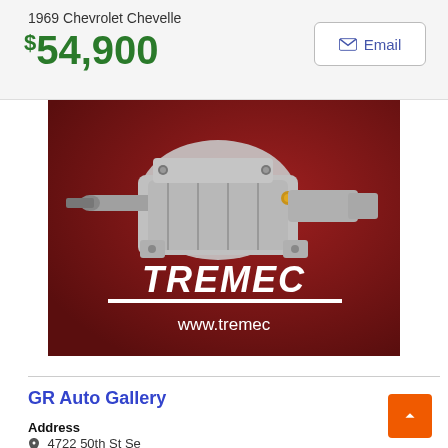1969 Chevrolet Chevelle
$54,900
[Figure (photo): TREMEC transmission unit on red background with TREMEC logo and www.tremec website URL]
GR Auto Gallery
Address
4722 50th St Se